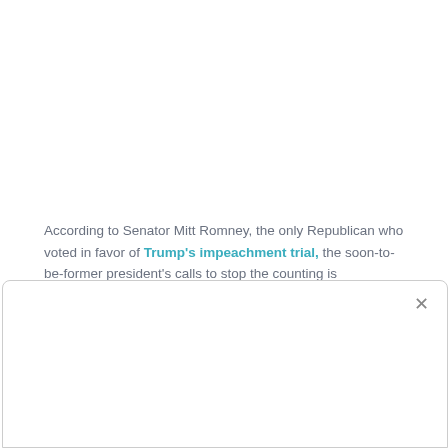According to Senator Mitt Romney, the only Republican who voted in favor of Trump's impeachment trial, the soon-to-be-former president's calls to stop the counting is unconstitutional as each and every vote counts as part of the democratic process. Sen Romney said that if there are inconsistencies, there will be an investigation and the matter will be resolved in judicial court/s.